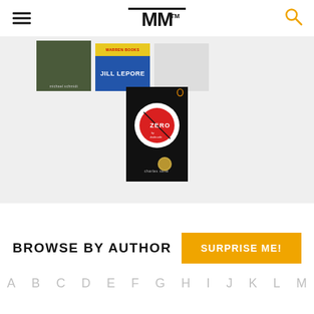[Figure (screenshot): MM logo with horizontal bars above the letters and a trademark symbol, black on white background]
[Figure (screenshot): Website carousel showing book covers including a book by Michael Schmidt, a book by Jill Lepore, a third partially visible book, and a featured book cover 'Zero' with a red circle on black background (Penguin edition)]
BROWSE BY AUTHOR
[Figure (screenshot): Orange 'SURPRISE ME!' button]
A  B  C  D  E  F  G  H  I  J  K  L  M